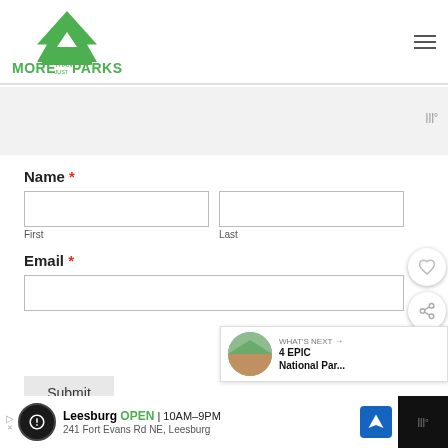[Figure (logo): More Than Just Parks green logo with arrowhead/mountain design]
Name *
First
Last
Email *
Submit
Leesburg OPEN 10AM-9PM 241 Fort Evans Rd NE, Leesburg